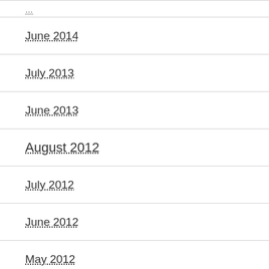…
June 2014
July 2013
June 2013
August 2012
July 2012
June 2012
May 2012
April 2012